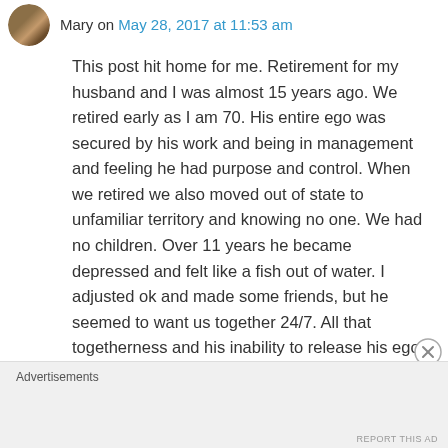Mary on May 28, 2017 at 11:53 am
This post hit home for me. Retirement for my husband and I was almost 15 years ago. We retired early as I am 70. His entire ego was secured by his work and being in management and feeling he had purpose and control. When we retired we also moved out of state to unfamiliar territory and knowing no one. We had no children. Over 11 years he became depressed and felt like a fish out of water. I adjusted ok and made some friends, but he seemed to want us together 24/7. All that togetherness and his inability to release his ego
Advertisements